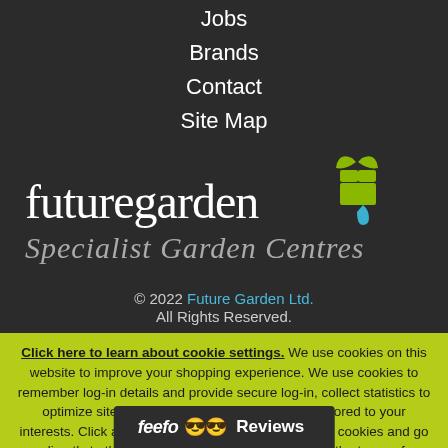Jobs
Brands
Contact
Site Map
[Figure (logo): futuregarden Specialist Garden Centres logo with yellow-green leaf/gift icon and blue water drop, white and grey text on dark background]
© 2022 Future Garden Ltd. All Rights Reserved.
Click here to learn about cookie settings. We use cookies on this website to improve your shopping experience. We use cookies to remember log-in details and provide secure log-in, collect statistics to optimize site functionality, and deliver content tailored to your interests. Click accept to give your consent to accept cookies and go directly to the site or click on more in... riptions of the types of
[Figure (logo): Feefo Reviews logo bar with smiley face icons]